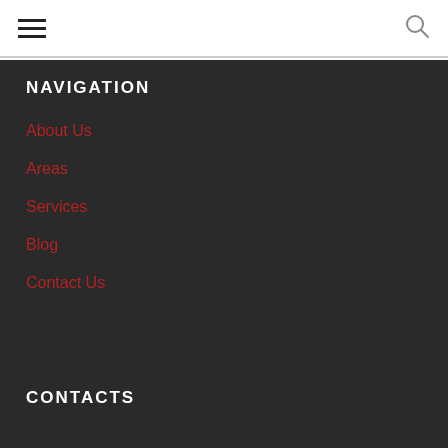Navigation menu header bar with hamburger icon and search icon
NAVIGATION
About Us
Areas
Services
Blog
Contact Us
CONTACTS